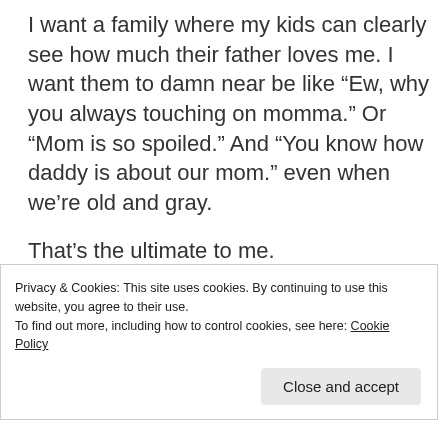I want a family where my kids can clearly see how much their father loves me. I want them to damn near be like “Ew, why you always touching on momma.” Or “Mom is so spoiled.” And “You know how daddy is about our mom.” even when we’re old and gray.

That’s the ultimate to me.
Privacy & Cookies: This site uses cookies. By continuing to use this website, you agree to their use.
To find out more, including how to control cookies, see here: Cookie Policy